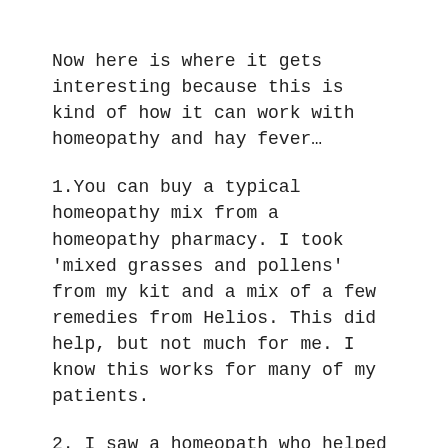Now here is where it gets interesting because this is kind of how it can work with homeopathy and hay fever…
1.You can buy a typical homeopathy mix from a homeopathy pharmacy. I took 'mixed grasses and pollens' from my kit and a mix of a few remedies from Helios. This did help, but not much for me. I know this works for many of my patients.
2. I saw a homeopath who helped me find my perfect hay fever remedy to match my symptoms - this would work for a day or two or on cloudy days, but I could not, for the